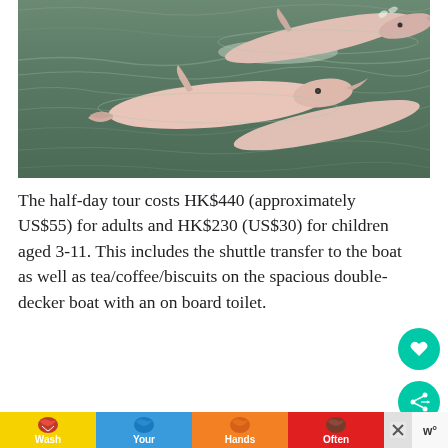[Figure (photo): Two pink dolphins (Chinese white dolphins) swimming in greenish-grey ocean water, partially surfacing.]
The half-day tour costs HK$440 (approximately US$55) for adults and HK$230 (US$30) for children aged 3-11. This includes the shuttle transfer to the boat as well as tea/coffee/biscuits on the spacious double-decker boat with an on board toilet.
[Figure (infographic): Advertisement banner showing 'Wash Your Hands Often' with colourful hand icons on yellow, blue, orange and red background sections. Includes close buttons and a 'w' logo.]